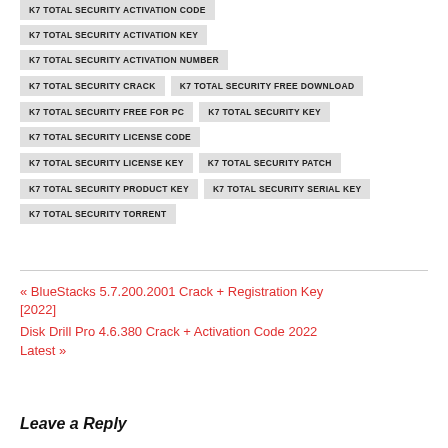K7 TOTAL SECURITY ACTIVATION CODE
K7 TOTAL SECURITY ACTIVATION KEY
K7 TOTAL SECURITY ACTIVATION NUMBER
K7 TOTAL SECURITY CRACK
K7 TOTAL SECURITY FREE DOWNLOAD
K7 TOTAL SECURITY FREE FOR PC
K7 TOTAL SECURITY KEY
K7 TOTAL SECURITY LICENSE CODE
K7 TOTAL SECURITY LICENSE KEY
K7 TOTAL SECURITY PATCH
K7 TOTAL SECURITY PRODUCT KEY
K7 TOTAL SECURITY SERIAL KEY
K7 TOTAL SECURITY TORRENT
« BlueStacks 5.7.200.2001 Crack + Registration Key [2022]
Disk Drill Pro 4.6.380 Crack + Activation Code 2022 Latest »
Leave a Reply